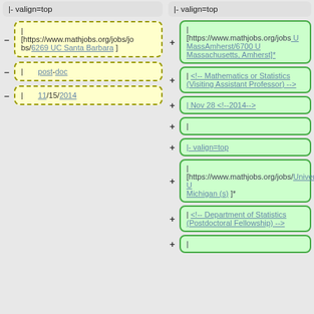|- valign=top
|
[https://www.mathjobs.org/jobs/jobs/6269 UC Santa Barbara ]
| post-doc
| 11/15/2014
|- valign=top
|
[https://www.mathjobs.org/jobs UMassAmherst/6700 U Massachusetts, Amherst]*
| <!-- Mathematics or Statistics (Visiting Assistant Professor) -->
| Nov 28 <!--2014-->
|
|- valign=top
|
[https://www.mathjobs.org/jobs/UniversityofMichigan/6730 U Michigan (s) ]*
| <!-- Department of Statistics (Postdoctoral Fellowship) -->
|